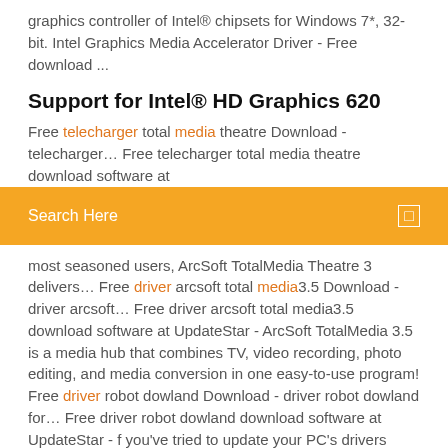graphics controller of Intel® chipsets for Windows 7*, 32-bit. Intel Graphics Media Accelerator Driver - Free download ...
Support for Intel® HD Graphics 620
Free telecharger total media theatre Download - telecharger… Free telecharger total media theatre download software at
Search Here
most seasoned users, ArcSoft TotalMedia Theatre 3 delivers… Free driver arcsoft total media3.5 Download - driver arcsoft… Free driver arcsoft total media3.5 download software at UpdateStar - ArcSoft TotalMedia 3.5 is a media hub that combines TV, video recording, photo editing, and media conversion in one easy-to-use program! Free driver robot dowland Download - driver robot dowland for… Free driver robot dowland download software at UpdateStar - f you've tried to update your PC's drivers manually, you know how frustrating it